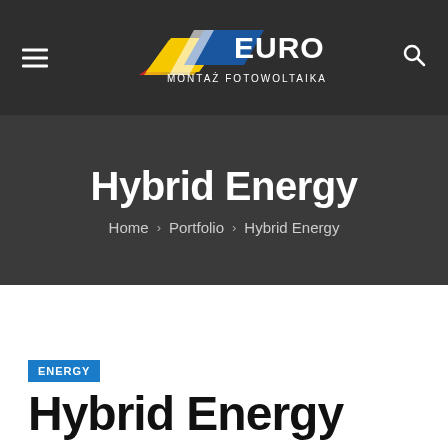[Figure (logo): Euro Montaz Fotowoltaika logo with colored parallelogram shapes in red, yellow, and blue above the text EURO and MONTAZ FOTOWOLTAIKA]
Hybrid Energy
Home > Portfolio > Hybrid Energy
ENERGY
Hybrid Energy